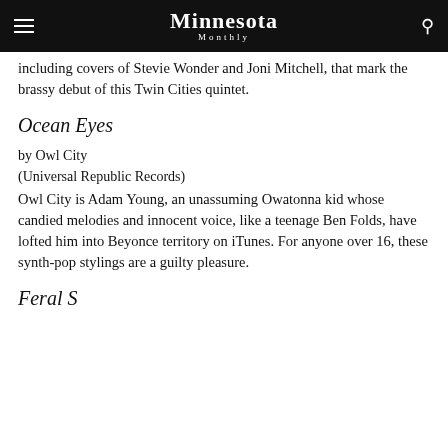Minnesota Monthly
including covers of Stevie Wonder and Joni Mitchell, that mark the brassy debut of this Twin Cities quintet.
Ocean Eyes
by Owl City
(Universal Republic Records)
Owl City is Adam Young, an unassuming Owatonna kid whose candied melodies and innocent voice, like a teenage Ben Folds, have lofted him into Beyonce territory on iTunes. For anyone over 16, these synth-pop stylings are a guilty pleasure.
Feral S...